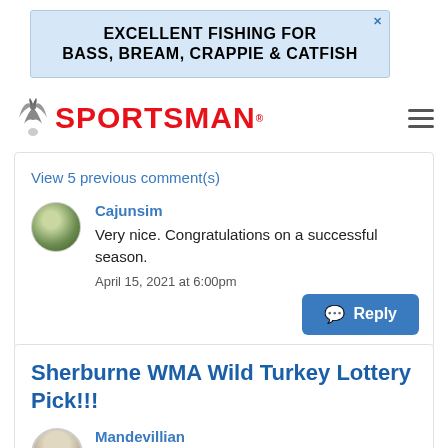[Figure (other): Advertisement banner: EXCELLENT FISHING FOR BASS, BREAM, CRAPPIE & CATFISH on light blue background]
SPORTSMAN (logo with bird icon and hamburger menu)
View 5 previous comment(s)
Cajunsim
Very nice. Congratulations on a successful season.
April 15, 2021 at 6:00pm
Reply
Sherburne WMA Wild Turkey Lottery Pick!!!
Mandevillian
February 10, 2021 at 8:01pm